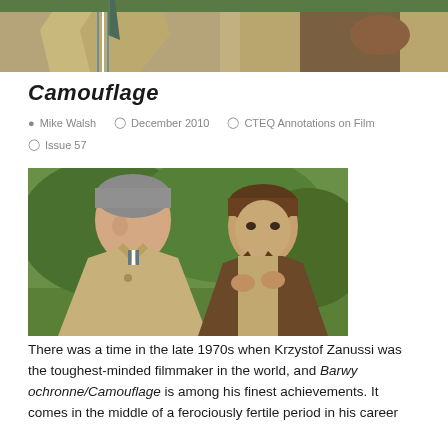[Figure (photo): Top cropped photo showing two men in tan/khaki jackets outdoors with green background, partial view]
Camouflage
Mike Walsh   December 2010   CTEQ Annotations on Film   Issue 57
[Figure (photo): Two men outdoors in a park-like setting. The man on the left has gray streaked hair and wears a tan jacket. The man on the right is younger with brown hair and wears a brown vest over a shirt, looking slightly to the left. Green trees in background.]
There was a time in the late 1970s when Krzystof Zanussi was the toughest-minded filmmaker in the world, and Barwy ochronne/Camouflage is among his finest achievements. It comes in the middle of a ferociously fertile period in his career